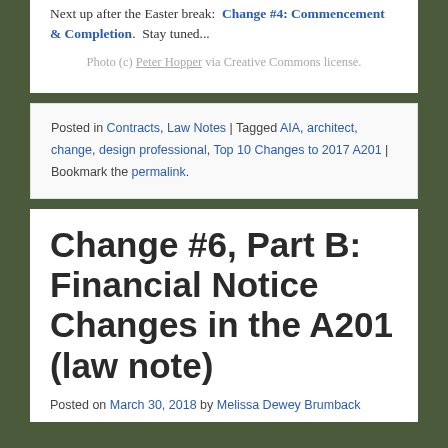Next up after the Easter break: Change #4: Commencement & Completion. Stay tuned...
Photo (c) Peter Hopper via Creative Commons license.
Posted in Contracts, Law Notes | Tagged AIA, architect, change, design professional, Top 10 Changes to 2017 A201 | Bookmark the permalink.
Change #6, Part B: Financial Notice Changes in the A201 (law note)
Posted on March 30, 2018 by Melissa Dewey Brumback